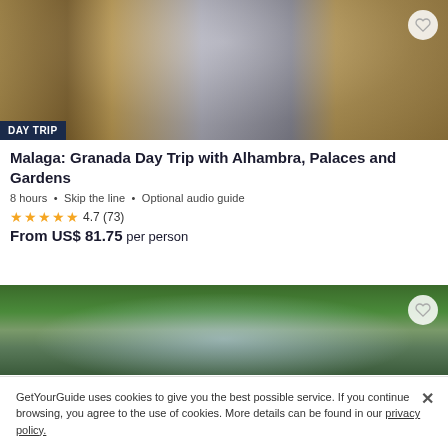[Figure (photo): Alhambra palace archway photo with ornate Moorish architecture and a tower visible through the arch]
Malaga: Granada Day Trip with Alhambra, Palaces and Gardens
8 hours • Skip the line • Optional audio guide
★★★★½ 4.7 (73)
From US$ 81.75 per person
[Figure (photo): Alhambra gardens with fountain and lush greenery]
GetYourGuide uses cookies to give you the best possible service. If you continue browsing, you agree to the use of cookies. More details can be found in our privacy policy.